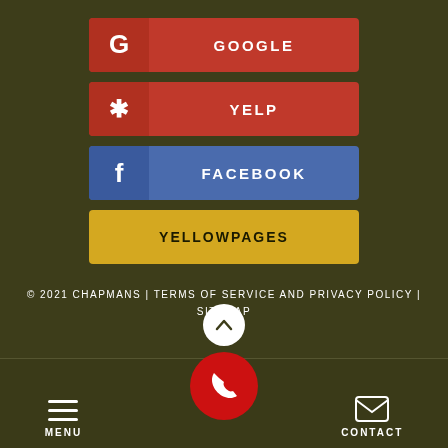[Figure (infographic): Google review button with Google G logo icon in red]
[Figure (infographic): Yelp review button with Yelp burst icon in red]
[Figure (infographic): Facebook review button with Facebook f icon in blue]
[Figure (infographic): YellowPages review button in yellow/gold]
© 2021 CHAPMANS | TERMS OF SERVICE AND PRIVACY POLICY | SITEMAP
[Figure (infographic): Scroll up chevron button - white circle with up arrow]
[Figure (infographic): Red phone call button circle at bottom center]
MENU
CONTACT